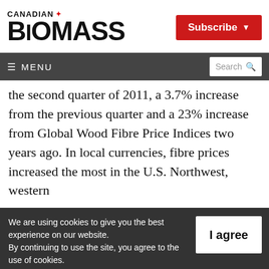CANADIAN BIOMASS
the second quarter of 2011, a 3.7% increase from the previous quarter and a 23% increase from Global Wood Fibre Price Indices two years ago. In local currencies, fibre prices increased the most in the U.S. Northwest, western
We are using cookies to give you the best experience on our website. By continuing to use the site, you agree to the use of cookies. To find out more, read our privacy policy.